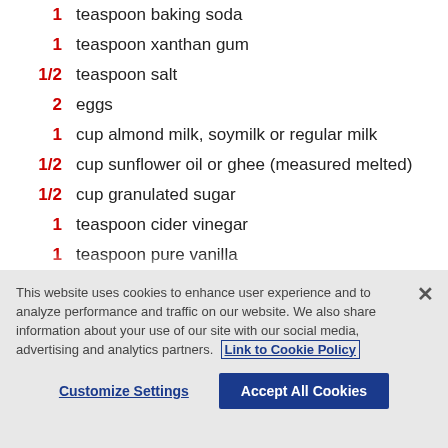1 teaspoon baking soda
1 teaspoon xanthan gum
1/2 teaspoon salt
2 eggs
1 cup almond milk, soymilk or regular milk
1/2 cup sunflower oil or ghee (measured melted)
1/2 cup granulated sugar
1 teaspoon cider vinegar
1 teaspoon pure vanilla
This website uses cookies to enhance user experience and to analyze performance and traffic on our website. We also share information about your use of our site with our social media, advertising and analytics partners. Link to Cookie Policy
Customize Settings  Accept All Cookies